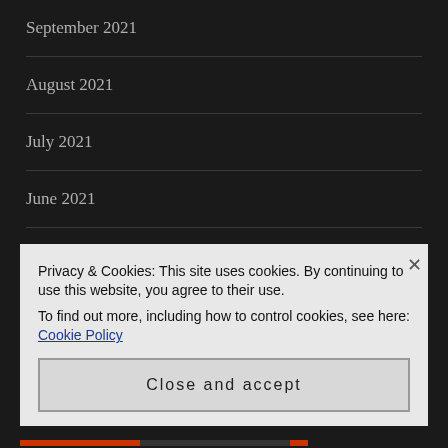September 2021
August 2021
July 2021
June 2021
May 2021
April 2021
March 2021
Privacy & Cookies: This site uses cookies. By continuing to use this website, you agree to their use.
To find out more, including how to control cookies, see here: Cookie Policy
Close and accept